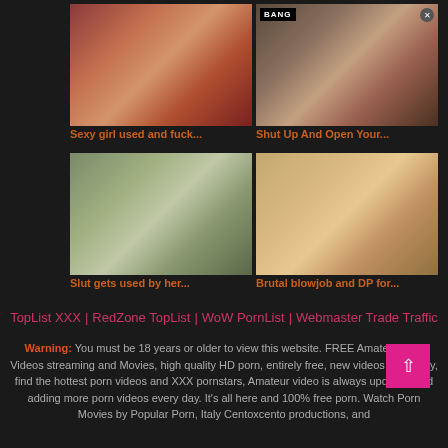[Figure (photo): Thumbnail image 1 - adult content]
Sexy girl used and fuck...
[Figure (photo): Thumbnail image 2 with BANG logo - adult content]
Shut Up And Open Your...
[Figure (photo): Thumbnail image 3 - adult content]
Slut gets used by her...
[Figure (photo): Thumbnail image 4 - adult content]
Brutal blowjob and DP for...
TopList XXX | RedZone TopList | WoW PornList | Webmaster Trade Traffic
Warning: You must be 18 years or older to view this website. FREE Amateur XXX Videos streaming and Movies, high quality HD porn, entirely free, new videos every day, find the hottest porn videos and XXX pornstars, Amateur video is always updating and adding more porn videos every day. It's all here and 100% free porn. Watch Porn Movies by Popular Porn, Italy Centoxcento productions, and